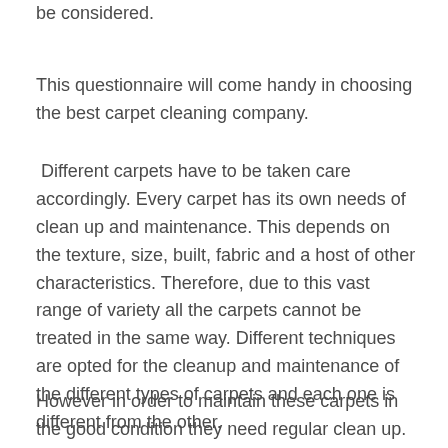be considered.
This questionnaire will come handy in choosing the best carpet cleaning company.
Different carpets have to be taken care accordingly. Every carpet has its own needs of clean up and maintenance. This depends on the texture, size, built, fabric and a host of other characteristics. Therefore, due to this vast range of variety all the carpets cannot be treated in the same way. Different techniques are opted for the cleanup and maintenance of the different types of carpets and each one is different from the other.
However in order to maintain these carpets in the good condition they need regular clean up.